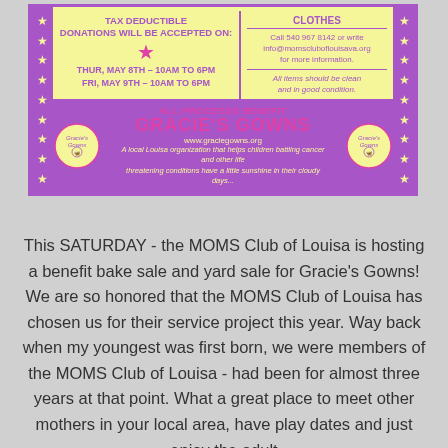[Figure (infographic): Yellow flyer with purple star border promoting a MOMS Club of Louisa tax-deductible bake sale and yard sale benefiting Gracie's Gowns. Includes donation dates (THUR, MAY 8th 10AM-6PM; FRI, MAY 9th 10AM-6PM), contact info (540 967 8142, info@momscluboflouisava.org), and Gracie's Gowns branding with logos and website www.graciegowns.org.]
This SATURDAY - the MOMS Club of Louisa is hosting a benefit bake sale and yard sale for Gracie's Gowns! We are so honored that the MOMS Club of Louisa has chosen us for their service project this year. Way back when my youngest was first born, we were members of the MOMS Club of Louisa - had been for almost three years at that point. What a great place to meet other mothers in your local area, have play dates and just enjoy the adult